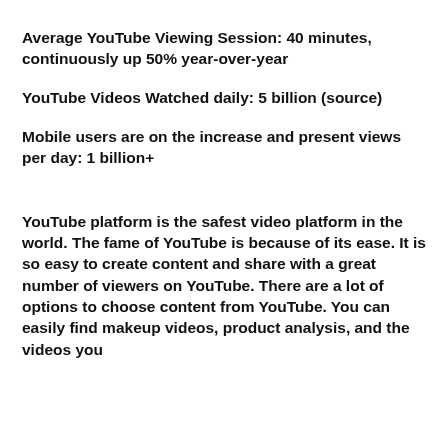Average YouTube Viewing Session: 40 minutes, continuously up 50% year-over-year
YouTube Videos Watched daily: 5 billion (source)
Mobile users are on the increase and present views per day: 1 billion+
YouTube platform is the safest video platform in the world. The fame of YouTube is because of its ease. It is so easy to create content and share with a great number of viewers on YouTube. There are a lot of options to choose content from YouTube. You can easily find makeup videos, product analysis, and the videos you